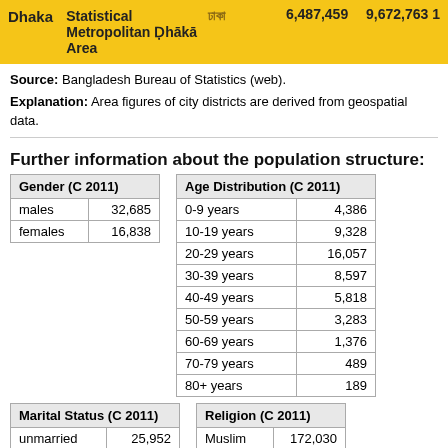|  | Statistical Metropolitan Ḍhākā Area | ঢাকা |  | 6,487,459 | 9,672,763 |
| --- | --- | --- | --- | --- | --- |
| Dhaka | Statistical Metropolitan Ḍhākā Area | ঢাকা |  | 6,487,459 | 9,672,763 1 |
Source: Bangladesh Bureau of Statistics (web).
Explanation: Area figures of city districts are derived from geospatial data.
Further information about the population structure:
| Gender (C 2011) |  |
| --- | --- |
| males | 32,685 |
| females | 16,838 |
| Age Distribution (C 2011) |  |
| --- | --- |
| 0-9 years | 4,386 |
| 10-19 years | 9,328 |
| 20-29 years | 16,057 |
| 30-39 years | 8,597 |
| 40-49 years | 5,818 |
| 50-59 years | 3,283 |
| 60-69 years | 1,376 |
| 70-79 years | 489 |
| 80+ years | 189 |
| Marital Status (C 2011) |  |
| --- | --- |
| unmarried | 25,952 |
| married | 22,548 |
| widowed | — |
| Religion (C 2011) |  |
| --- | --- |
| Muslim | 172,030 |
| Hindu | 32,232 |
| Christian | — |